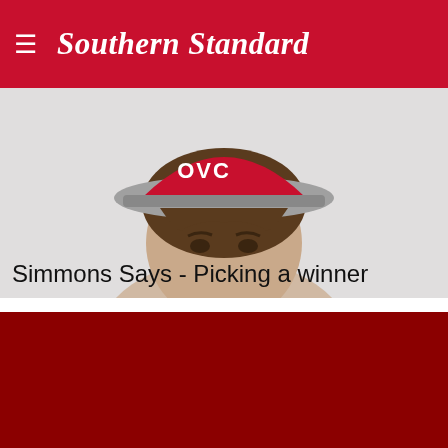Southern Standard
[Figure (photo): Person wearing a red OVC baseball cap, partially visible head shot used as hero image for article]
Simmons Says - Picking a winner
[Figure (photo): Solid dark red/crimson block, lower portion of the page, likely a partially loaded image or video placeholder]